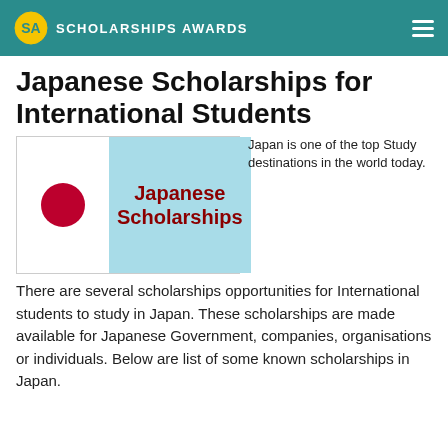SCHOLARSHIPS AWARDS
Japanese Scholarships for International Students
[Figure (illustration): Japanese flag with red circle on white background alongside a light blue panel with bold dark red text reading 'Japanese Scholarships']
Japan is one of the top Study destinations in the world today. There are several scholarships opportunities for International students to study in Japan. These scholarships are made available for Japanese Government, companies, organisations or individuals. Below are list of some known scholarships in Japan.